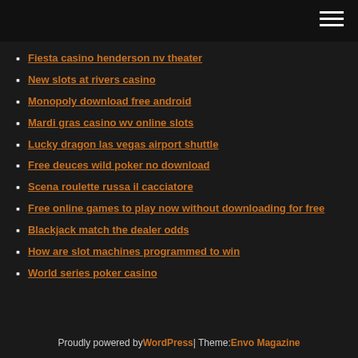[site header with hamburger menu]
Fiesta casino henderson nv theater
New slots at rivers casino
Monopoly download free android
Mardi gras casino wv online slots
Lucky dragon las vegas airport shuttle
Free deuces wild poker no download
Scena roulette russa il cacciatore
Free online games to play now without downloading for free
Blackjack match the dealer odds
How are slot machines programmed to win
World series poker casino
Proudly powered by WordPress | Theme: Envo Magazine